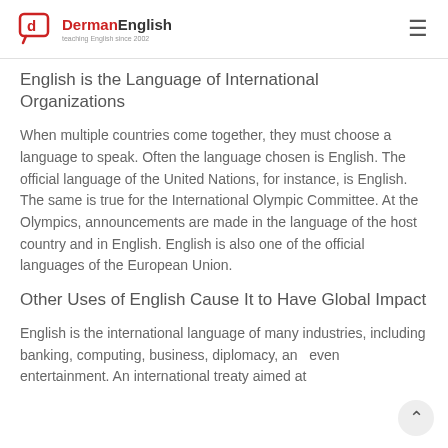DermanEnglish — teaching English since 2002
English is the Language of International Organizations
When multiple countries come together, they must choose a language to speak. Often the language chosen is English. The official language of the United Nations, for instance, is English. The same is true for the International Olympic Committee. At the Olympics, announcements are made in the language of the host country and in English. English is also one of the official languages of the European Union.
Other Uses of English Cause It to Have Global Impact
English is the international language of many industries, including banking, computing, business, diplomacy, and even entertainment. An international treaty aimed at